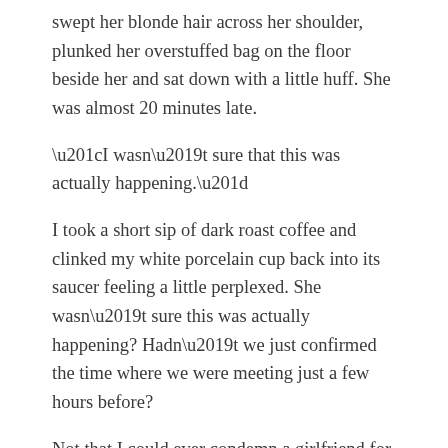swept her blonde hair across her shoulder, plunked her overstuffed bag on the floor beside her and sat down with a little huff. She was almost 20 minutes late.
“I wasn’t sure that this was actually happening.”
I took a short sip of dark roast coffee and clinked my white porcelain cup back into its saucer feeling a little perplexed. She wasn’t sure this was actually happening? Hadn’t we just confirmed the time where we were meeting just a few hours before?
Not that I could ever condemn a girlfriend for running behind. (I would have to get the major plank out of my eye in order to ever say anything about the splinter in hers. Catch my drift?)